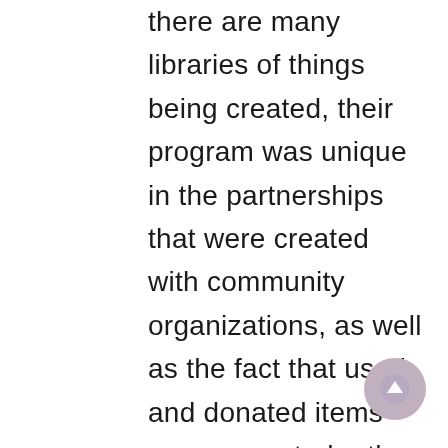there are many libraries of things being created, their program was unique in the partnerships that were created with community organizations, as well as the fact that used and donated items were accepted rather than limiting the collection to new items only. The honourable mention for this category was given to the Irricana & Rural Municipal Library and their Family Activity Grab Bags program. The program proved to be an important way to connect with patrons by giving them the opportunity to enjoy activities together as a family. The inclusion of information on indigenous...